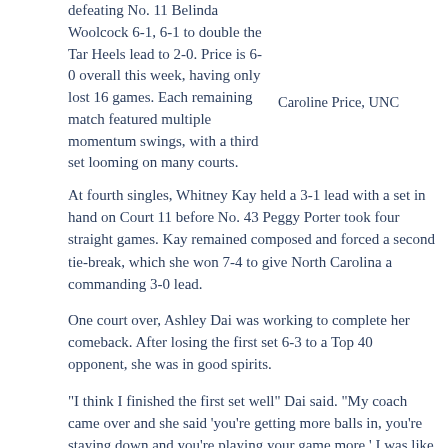defeating No. 11 Belinda Woolcock 6-1, 6-1 to double the Tar Heels lead to 2-0. Price is 6-0 overall this week, having only lost 16 games. Each remaining match featured multiple momentum swings, with a third set looming on many courts.
Caroline Price, UNC
At fourth singles, Whitney Kay held a 3-1 lead with a set in hand on Court 11 before No. 43 Peggy Porter took four straight games. Kay remained composed and forced a second tie-break, which she won 7-4 to give North Carolina a commanding 3-0 lead.
One court over, Ashley Dai was working to complete her comeback. After losing the first set 6-3 to a Top 40 opponent, she was in good spirits.
"I think I finished the first set well" Dai said. "My coach came over and she said 'you're getting more balls in, you're staying down and you're playing your game more.' I was like I've got this. I just have to do me, not look across the net and look at what she's doing. It worked out well."
Dai finished the job, winning 3-6, 6-2, 6-2 to give the Tar Heels their second ITA National Team Indoor final appearance in three years.
"It's pretty indescribable," Dai said. "I haven't clinched a lot of matches, so it feels awesome to be able to do this in a big tournament that we really have fun playing in. I've been in a great mood lately and having fun at